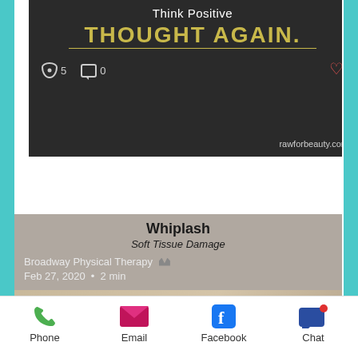[Figure (screenshot): Dark card with 'Think Positive' heading and 'THOUGHT AGAIN.' in gold text with underline. Shows view count of 5, comment count of 0, a heart icon, and rawforbeauty.com watermark.]
[Figure (screenshot): Medical article card about Whiplash / Soft Tissue Damage by Broadway Physical Therapy, dated Feb 27, 2020, 2 min read. Shows anatomical illustration of Hyperextension and Hyperflexion with skulls and spine. Overlay text reads 'Physical Therapy for Whiplash'. Labels for 'Torn anterior longitudinal ligament' and 'Torn nuchal ligament'. View count 3, comment count 0.]
Phone  Email  Facebook  Chat